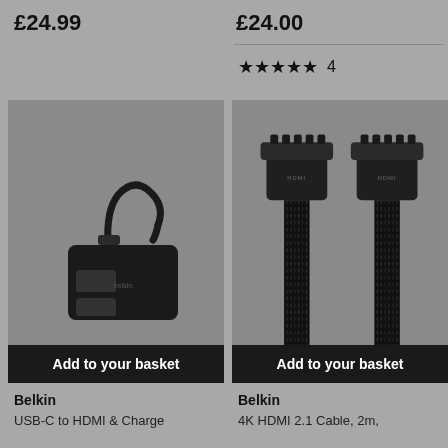£24.99
£24.00
★★★★½ 4
[Figure (photo): Belkin USB-C to HDMI & Charge adapter, black, with USB-C connector and HDMI port, shown on grey background]
Add to your basket
[Figure (photo): Belkin 4K HDMI 2.1 Cable, 2m, showing two black braided HDMI connectors side by side on grey background, with a circular scroll-up arrow button overlay]
Add to your basket
Belkin
Belkin
USB-C to HDMI & Charge
4K HDMI 2.1 Cable, 2m,